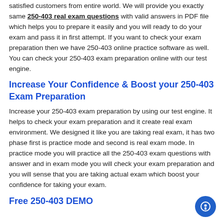satisfied customers from entire world. We will provide you exactly same 250-403 real exam questions with valid answers in PDF file which helps you to prepare it easily and you will ready to do your exam and pass it in first attempt. If you want to check your exam preparation then we have 250-403 online practice software as well. You can check your 250-403 exam preparation online with our test engine.
Increase Your Confidence & Boost your 250-403 Exam Preparation
Increase your 250-403 exam preparation by using our test engine. It helps to check your exam preparation and it create real exam environment. We designed it like you are taking real exam, it has two phase first is practice mode and second is real exam mode. In practice mode you will practice all the 250-403 exam questions with answer and in exam mode you will check your exam preparation and you will sense that you are taking actual exam which boost your confidence for taking your exam.
Free 250-403 DEMO